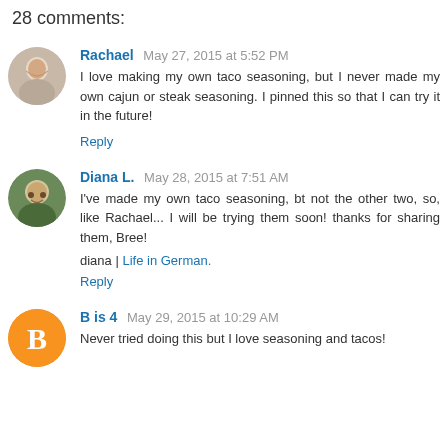28 comments:
Rachael May 27, 2015 at 5:52 PM
I love making my own taco seasoning, but I never made my own cajun or steak seasoning. I pinned this so that I can try it in the future!
Reply
Diana L. May 28, 2015 at 7:51 AM
I've made my own taco seasoning, bt not the other two, so, like Rachael... I will be trying them soon! thanks for sharing them, Bree!
diana | Life in German.
Reply
B is 4 May 29, 2015 at 10:29 AM
Never tried doing this but I love seasoning and tacos!